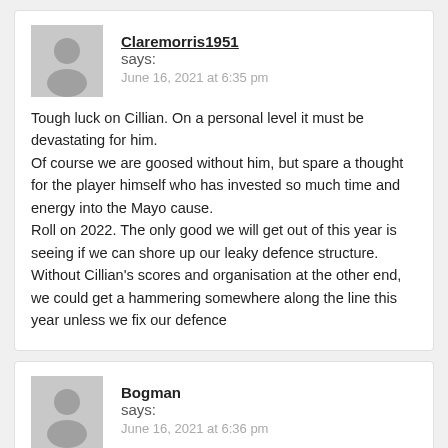Claremorris1951 says:
June 16, 2021 at 6:35 pm
Tough luck on Cillian. On a personal level it must be devastating for him.
Of course we are goosed without him, but spare a thought for the player himself who has invested so much time and energy into the Mayo cause.
Roll on 2022. The only good we will get out of this year is seeing if we can shore up our leaky defence structure.
Without Cillian's scores and organisation at the other end, we could get a hammering somewhere along the line this year unless we fix our defence
Bogman says:
June 16, 2021 at 6:36 pm